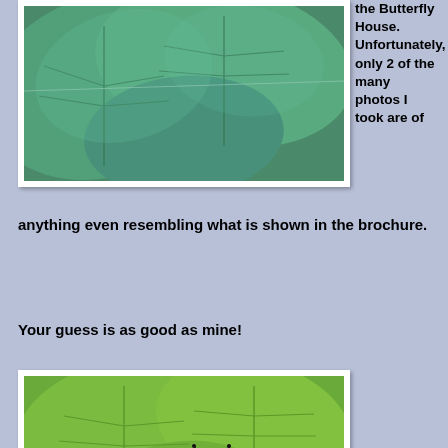[Figure (photo): Close-up photo of large green leaves with visible veins and a thin strand or wire across them, taken at the Butterfly House.]
the Butterfly House. Unfortunately, only 2 of the many photos I took are of anything even resembling what is shown in the brochure.
Your guess is as good as mine!
[Figure (photo): Photo of bright green serrated leaves with a dark blue and white patterned butterfly (swallowtail type) resting on them.]